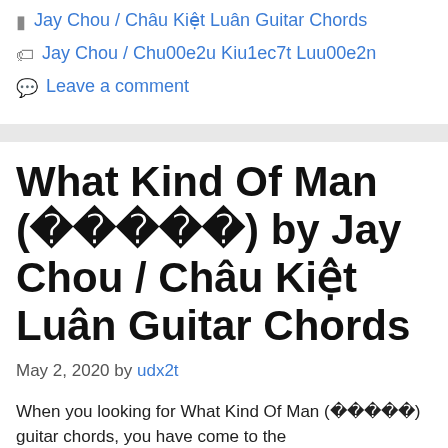Jay Chou / Châu Kiệt Luân Guitar Chords
Jay Chou / Chu00e2u Kiu1ec7t Luu00e2n
Leave a comment
What Kind Of Man (□□□□□) by Jay Chou / Châu Kiệt Luân Guitar Chords
May 2, 2020 by udx2t
When you looking for What Kind Of Man (□□□□□) guitar chords, you have come to the